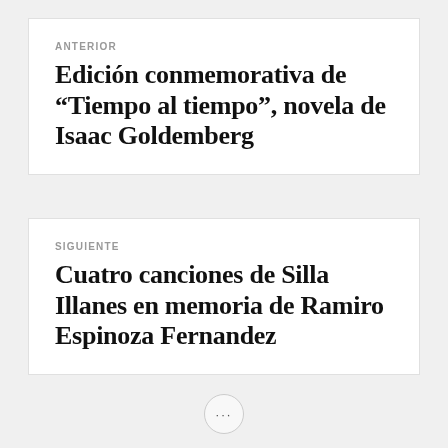ANTERIOR
Edición conmemorativa de “Tiempo al tiempo”, novela de Isaac Goldemberg
SIGUIENTE
Cuatro canciones de Silla Illanes en memoria de Ramiro Espinoza Fernandez